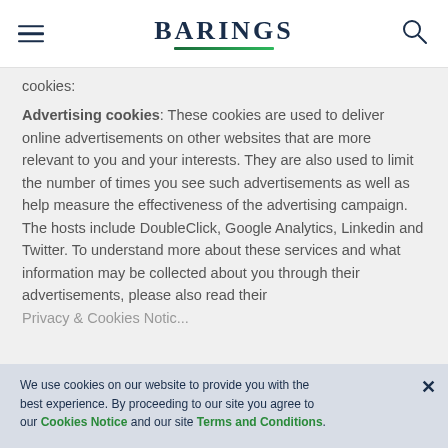BARINGS
cookies:
Advertising cookies: These cookies are used to deliver online advertisements on other websites that are more relevant to you and your interests. They are also used to limit the number of times you see such advertisements as well as help measure the effectiveness of the advertising campaign. The hosts include DoubleClick, Google Analytics, Linkedin and Twitter. To understand more about these services and what information may be collected about you through their advertisements, please also read their Privacy & Cookies Notice.
We use cookies on our website to provide you with the best experience. By proceeding to our site you agree to our Cookies Notice and our site Terms and Conditions.